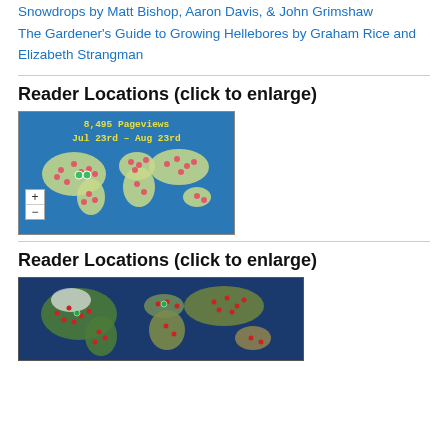Snowdrops by Matt Bishop, Aaron Davis, & John Grimshaw
The Gardener's Guide to Growing Hellebores by Graham Rice and Elizabeth Strangman
Reader Locations (click to enlarge)
[Figure (map): World map showing reader locations with 8,495 Pageviews Jul 23rd – Aug 23rd, blue background with pink/red dots scattered across continents, zoom controls visible]
Reader Locations (click to enlarge)
[Figure (map): Satellite-style world map showing reader locations with numerous red dots scattered across continents]